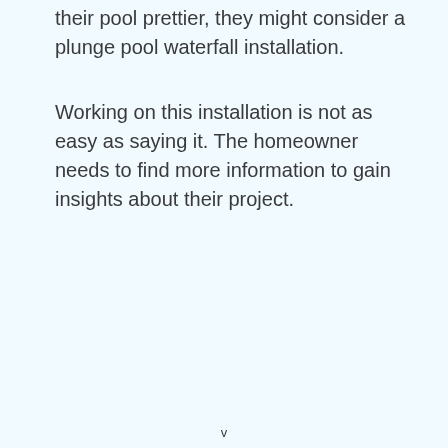their pool prettier, they might consider a plunge pool waterfall installation.
Working on this installation is not as easy as saying it. The homeowner needs to find more information to gain insights about their project.
v